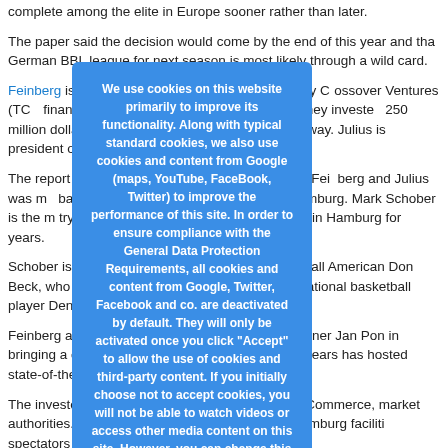complete among the elite in Europe sooner rather than later.
The paper said the decision would come by the end of this year and that German BBL league for next season is most likely through a wild card.
Feinberg is a venture partner with TCV (Technology Crossover Ventures (TCV) financial crisis in the U.S. starting in 2008. They invested 250 million dollars vacation rental marketplace HomeAway. Julius is president of the c Solutions.
The report went on to say the connection between Feinberg and Julius was m based in Nottensdort in the diocese of Hamburg. Mark Schober is the m trying to get a first division basketball club in Hamburg for years.
Schober is aparantely supported by global basketball American Don Beck, who co German BBL, and former German national basketball player Denis Wucherer. responsible for forming
Feinberg and Julius have also met with Commissioner Jan Pon in bringing a club to Hamburg. The city the past two years has hosted state-of-the-art Col
The investors also have met with the Chamber of Commerce, market authorities. They also have met with Sporthalle Hamburg faciliti spectators – even games in the 14,0
[Figure (other): Cookie consent overlay dialog box with blue background. Text reads: We use cookies on this website primarily to improve its functionality. Along with typical standard cookies, we also use cookies and content from Google (maps, YouTube, FaceBook, Twitter) to improve the performance of this site. In order to ensure compliance with the General Data Protection Requirements, all cookies and content from Google, Twitter, Facebook and co. are deactivated by default. They will only be activated once you click "Accept" to allow the use of cookies and third-party content. If you initially choose not to accept cookies, you will not be able to watch videos or access other media content on this site. However, you can change this setting on any]